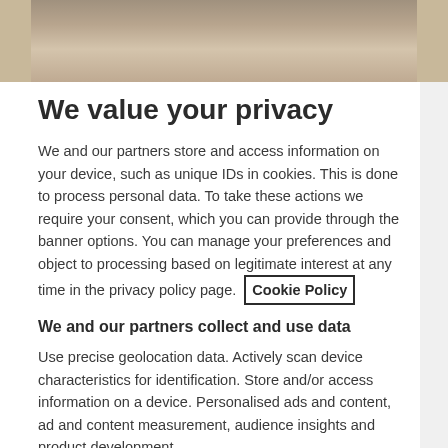[Figure (photo): Elderly person's hands holding a decorative teacup]
We value your privacy
We and our partners store and access information on your device, such as unique IDs in cookies. This is done to process personal data. To take these actions we require your consent, which you can provide through the banner options. You can manage your preferences and object to processing based on legitimate interest at any time in the privacy policy page. Cookie Policy
We and our partners collect and use data
Use precise geolocation data. Actively scan device characteristics for identification. Store and/or access information on a device. Personalised ads and content, ad and content measurement, audience insights and product development.
List of Partners (vendors)